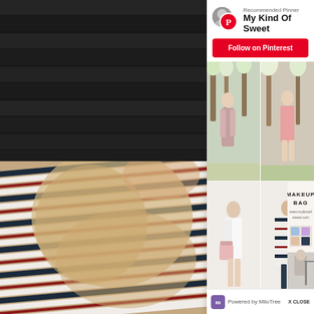[Figure (screenshot): Background photo of person in striped shirt holding a fluffy blonde dog, with dark wood decking visible in top left]
[Figure (screenshot): Pinterest MiloTree popup widget showing Recommended Pinner 'My Kind Of Sweet' with Follow on Pinterest button and mosaic of fashion/lifestyle pins]
Recommended Pinner
My Kind Of Sweet
Follow on Pinterest
[Figure (photo): Mosaic of 6 fashion and lifestyle Pinterest pin images showing women in spring outfits, fashion flatlay, and 'HOW MY BLOG BECAME MY BUSINESS' text overlay]
MAKEUP BAG
www.mykindofsweet.com
HOW MY BLOG BECAME MY BUSINESS
Powered by MiloTree
X CLOSE